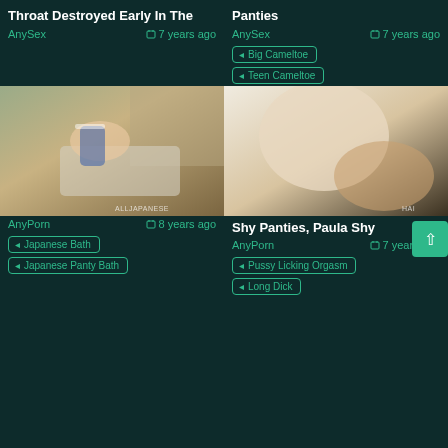Throat Destroyed Early In The
AnySex   7 years ago
Panties
AnySex   7 years ago
Big Cameltoe
Teen Cameltoe
[Figure (photo): Japanese woman in bathroom cleaning bathtub, wearing striped top and yellow shorts, watermark ALLJAPANESE]
[Figure (photo): Close up adult content image, watermark HAI]
AnyPorn   8 years ago
Japanese Bath
Japanese Panty Bath
Shy Panties, Paula Shy
AnyPorn   7 years ago
Pussy Licking Orgasm
Long Dick